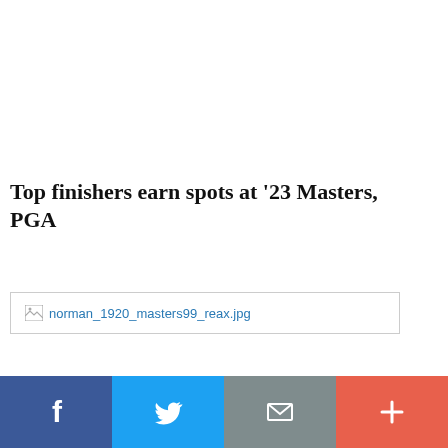Top finishers earn spots at '23 Masters, PGA
[Figure (photo): Broken image placeholder showing filename: norman_1920_masters99_reax.jpg]